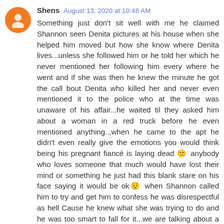Shens August 13, 2020 at 10:48 AM
Something just don't sit well with me he claimed Shannon seen Denita pictures at his house when she helped him moved but how she know where Denita lives...unless she followed him or he told her which he never mentioned her following him every where he went and if she was then he knew the minute he got the call bout Denita who killed her and never even mentioned it to the police who at the time was unaware of his affair...he waited til they asked him about a woman in a red truck before he even mentioned anything..,when he came to the apt he didn't even really give the emotions you would think being his pregnant fiancé is laying dead 🙁 anybody who loves someone that much would have lost their mind or something he just had this blank stare on his face saying it would be ok😟 when Shannon called him to try and get him to confess he was disrespectful as hell Cause he knew what she was trying to do and he was too smart to fall for it...we are talking about a police officer he not stupid...Shannon loved him and would do anything and he knew that and I just don't believe she did this by herself that man didn't want to be tied down to Denita and he didn't want to stop dealing with Shannon